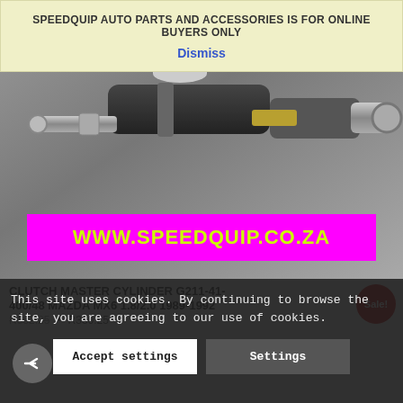[Figure (photo): Product photo of a clutch master cylinder auto part, metallic silver and black components on grey background, with magenta banner showing www.speedquip.co.za in yellow-green text]
SPEEDQUIP AUTO PARTS AND ACCESSORIES IS FOR ONLINE BUYERS ONLY
Dismiss
CLUTCH MASTER CYLINDER G211-41-400/48 MAZDA MX6 1.8/2.0 1989-1992
R362.25 • R330.25
Sale!
This site uses cookies. By continuing to browse the site, you are agreeing to our use of cookies.
Accept settings
Settings